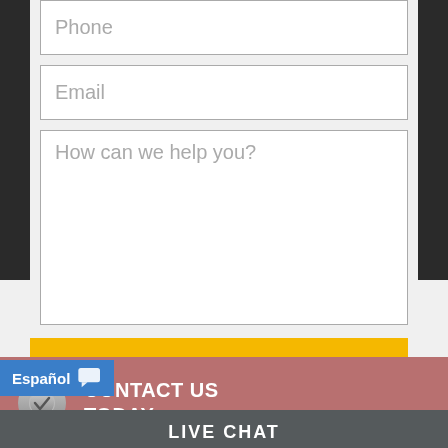Phone
Email
How can we help you?
GET STARTED »
Español
LIVE CHAT
CONTACT US TODAY